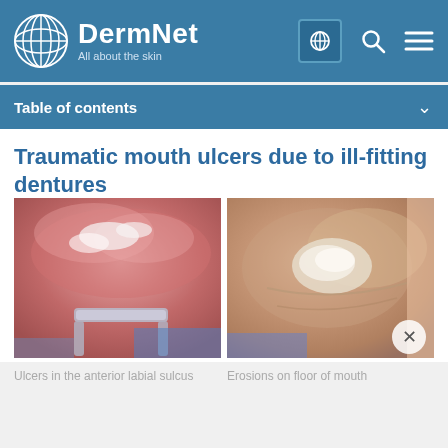DermNet — All about the skin
Table of contents
Traumatic mouth ulcers due to ill-fitting dentures
[Figure (photo): Clinical photograph showing ulcers in the anterior labial sulcus, with a metal dental retractor visible]
[Figure (photo): Clinical photograph showing erosions on floor of mouth]
Ulcers in the anterior labial sulcus
Erosions on floor of mouth